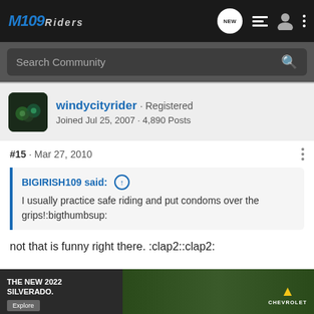M109Riders
Search Community
windycityrider · Registered
Joined Jul 25, 2007 · 4,890 Posts
#15 · Mar 27, 2010
BIGIRISH109 said: ↑
I usually practice safe riding and put condoms over the grips!:bigthumbsup:
not that is funny right there. :clap2::clap2:
R. Ste...
Ride A... nd
milos...
[Figure (screenshot): Chevrolet Silverado 2022 advertisement overlay showing truck in outdoor setting with 'THE NEW 2022 SILVERADO.' text, Explore button, and Chevrolet logo]